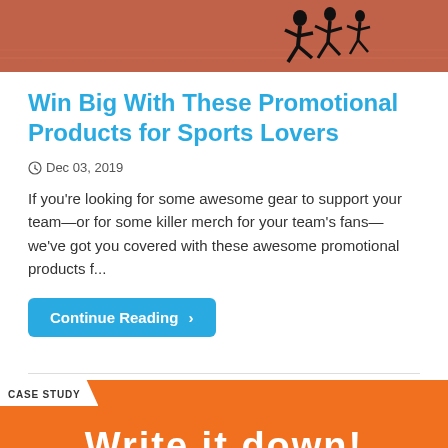[Figure (photo): Top banner image showing athletes on a red running track, with silhouettes of runners]
Win Big With These Promotional Products for Sports Lovers
Dec 03, 2019
If you're looking for some awesome gear to support your team—or for some killer merch for your team's fans—we've got you covered with these awesome promotional products f...
Continue Reading ›
[Figure (photo): Case study banner with orange background and handwritten text 'Write it down!']